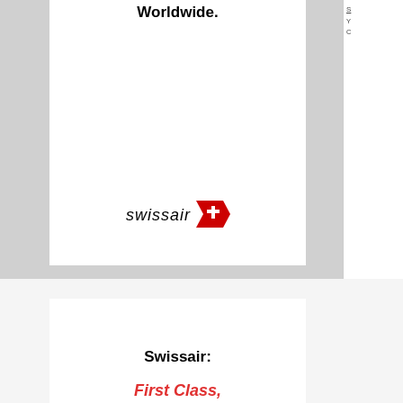[Figure (illustration): Partial Swissair advertisement showing 'Worldwide.' text and Swissair logo at bottom, cropped at top of page]
[Figure (illustration): Full Swissair advertisement: 'Swissair: First Class, Business Class, Economy Class. In all aircraft. Worldwide.' with Swissair logo]
[Figure (illustration): Partial bottom advertisement: 'For good maintenance, you're better off with a competent partner.' with partial image below]